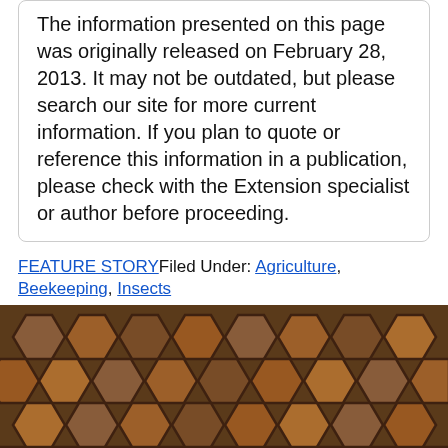The information presented on this page was originally released on February 28, 2013. It may not be outdated, but please search our site for more current information. If you plan to quote or reference this information in a publication, please check with the Extension specialist or author before proceeding.
FEATURE STORY Filed Under: Agriculture, Beekeeping, Insects
[Figure (photo): Close-up photograph of a honeybee on honeycomb cells. The hexagonal wax cells are filled with honey or capped, shown in warm brown and amber tones. A single bee is visible near the bottom center of the image.]